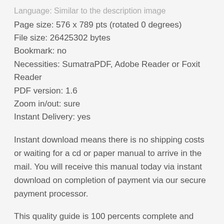Language: Similar to the description image
Page size: 576 x 789 pts (rotated 0 degrees)
File size: 26425302 bytes
Bookmark: no
Necessities: SumatraPDF, Adobe Reader or Foxit Reader
PDF version: 1.6
Zoom in/out: sure
Instant Delivery: yes
Instant download means there is no shipping costs or waiting for a cd or paper manual to arrive in the mail. You will receive this manual today via instant download on completion of payment via our secure payment processor.
This quality guide is 100 percents complete and intact, no missing (corrupt pages) sections to freak you out! Buy from us and I guarantee you'll be a satisfied customer and